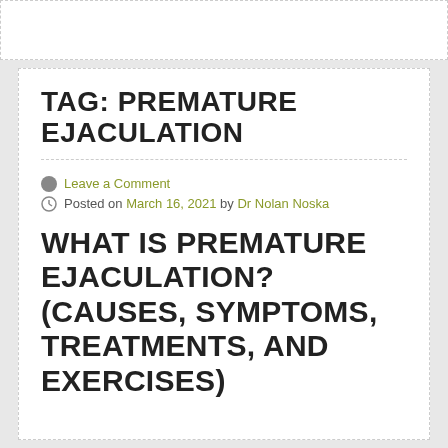TAG: PREMATURE EJACULATION
Leave a Comment
Posted on March 16, 2021 by Dr Nolan Noska
WHAT IS PREMATURE EJACULATION?(CAUSES, SYMPTOMS, TREATMENTS, AND EXERCISES)